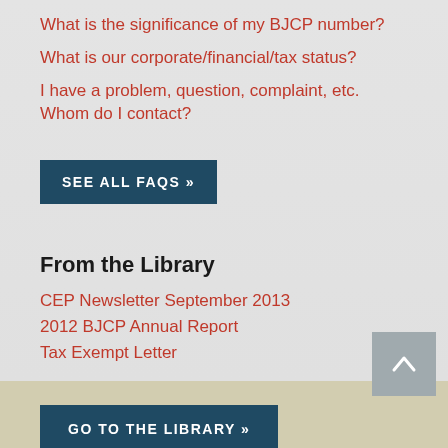What is the significance of my BJCP number?
What is our corporate/financial/tax status?
I have a problem, question, complaint, etc. Whom do I contact?
SEE ALL FAQS »
From the Library
CEP Newsletter September 2013
2012 BJCP Annual Report
Tax Exempt Letter
GO TO THE LIBRARY »